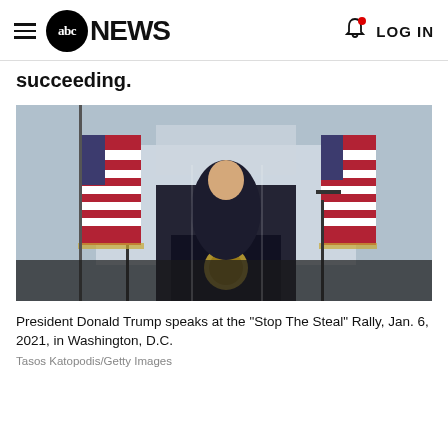abc NEWS  LOG IN
succeeding.
[Figure (photo): President Donald Trump speaking at a podium with the Presidential seal at the Stop The Steal Rally, Jan. 6, 2021, in Washington D.C. American flags flank him on both sides, White House visible in background.]
President Donald Trump speaks at the "Stop The Steal" Rally, Jan. 6, 2021, in Washington, D.C.
Tasos Katopodis/Getty Images